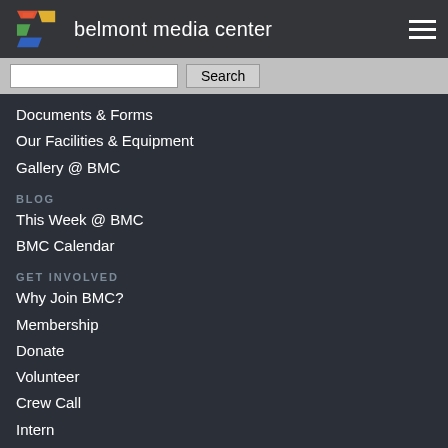belmont media center
Documents & Forms
Our Facilities & Equipment
Gallery @ BMC
BLOG
This Week @ BMC
BMC Calendar
GET INVOLVED
Why Join BMC?
Membership
Donate
Volunteer
Crew Call
Intern
Sponsor BMC
LEARN
Classes
Register for a Class